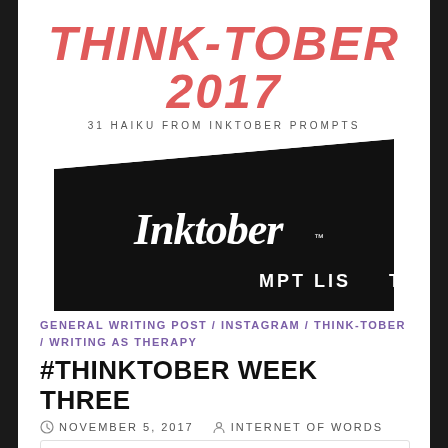THINK-TOBER 2017
31 HAIKU FROM INKTOBER PROMPTS
[Figure (photo): Black angled banner/card with 'Inktober' written in white cursive script, with 'PROMPT LIST' text partially visible, on a diagonal black background.]
GENERAL WRITING POST / INSTAGRAM / THINK-TOBER / WRITING AS THERAPY
#THINKTOBER WEEK THREE
NOVEMBER 5, 2017   INTERNET OF WORDS